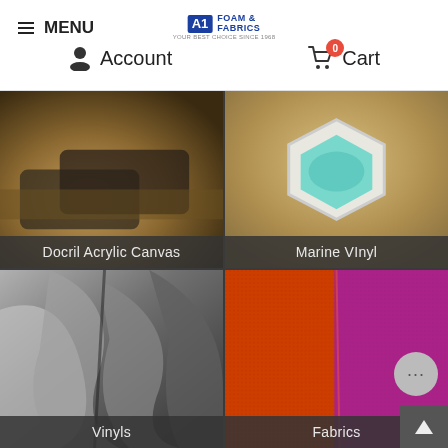≡MENU | A1 Foam & Fabrics — Your Best Choice Since 1968
Account
Cart 0
[Figure (photo): Outdoor patio furniture with wicker lounge chairs on a textured beige surface]
Docril Acrylic Canvas
[Figure (photo): Hexagonal outdoor hot tub spa with turquoise water on a beige deck]
Marine VInyl
[Figure (photo): Close-up black and white photo of leather car seat upholstery folds]
Vinyls
[Figure (photo): Close-up of orange and pink/purple fabric rolls]
Fabrics